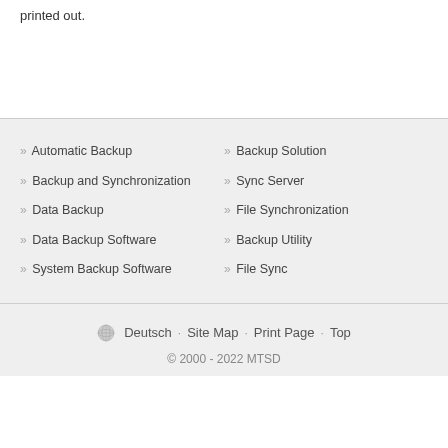printed out.
» Automatic Backup
» Backup Solution
» Backup and Synchronization
» Sync Server
» Data Backup
» File Synchronization
» Data Backup Software
» Backup Utility
» System Backup Software
» File Sync
Deutsch · Site Map · Print Page · Top
© 2000 - 2022 MTSD